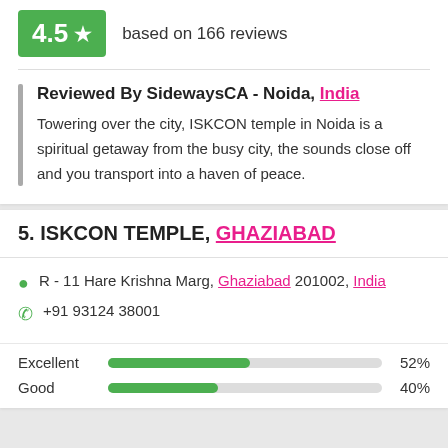[Figure (infographic): Green rating box showing 4.5 with a star icon, next to text 'based on 166 reviews']
Reviewed By SidewaysCA - Noida, India
Towering over the city, ISKCON temple in Noida is a spiritual getaway from the busy city, the sounds close off and you transport into a haven of peace.
5. ISKCON TEMPLE, GHAZIABAD
R - 11 Hare Krishna Marg, Ghaziabad 201002, India
+91 93124 38001
Excellent 52%
Good 40%